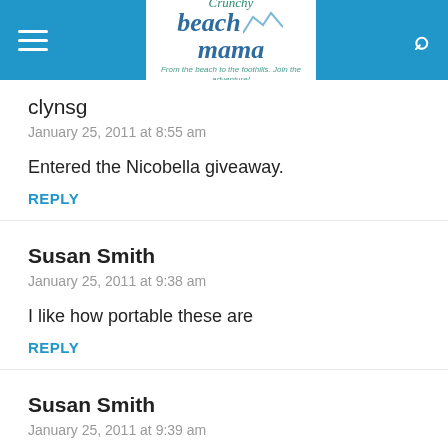Crunchy Beach Mama — From the beach to the foothills. Join the adventure!
clynsg
January 25, 2011 at 8:55 am
Entered the Nicobella giveaway.
REPLY
Susan Smith
January 25, 2011 at 9:38 am
I like how portable these are
REPLY
Susan Smith
January 25, 2011 at 9:39 am